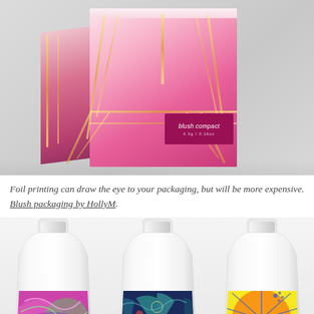[Figure (photo): A pink cosmetic box with foil geometric line pattern and a magenta label reading 'blush compact 4.5g / 0.16oz', shown in 3D perspective on a grey gradient background.]
Foil printing can draw the eye to your packaging, but will be more expensive. Blush packaging by HollyM.
[Figure (photo): Three white lotion/shampoo bottles side by side, each with a colorful patterned label featuring floral and fan designs. Left bottle has pink/green/purple design, middle bottle has dark blue/teal with fan shapes, right bottle has yellow/orange/blue radial pattern.]